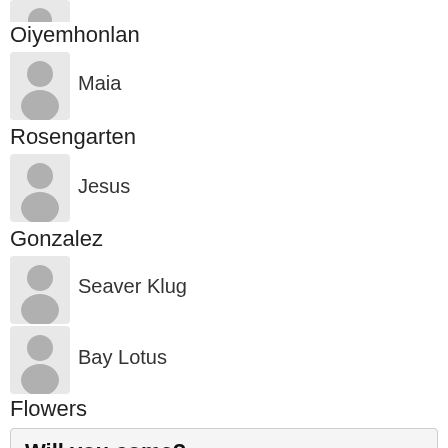[Figure (illustration): Partial avatar icon (cropped at top) for Oiyemhonlan]
Oiyemhonlan
[Figure (illustration): Avatar placeholder icon with person silhouette]
Maia
Rosengarten
[Figure (illustration): Avatar placeholder icon with person silhouette]
Jesus
Gonzalez
[Figure (illustration): Avatar placeholder icon with person silhouette]
Seaver Klug
[Figure (illustration): Avatar placeholder icon with person silhouette]
Bay Lotus
Flowers
Will you come?
0   $15.00 Solar Champion
Shine on us with an extra donation to help us provide legal support to new community-based renewable energy projects!